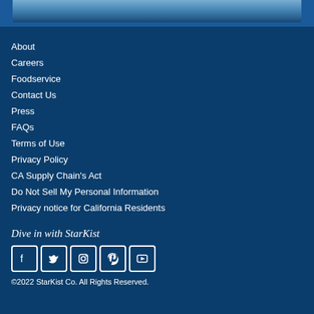[Figure (photo): Top banner image showing ocean/water scene for StarKist website]
About
Careers
Foodservice
Contact Us
Press
FAQs
Terms of Use
Privacy Policy
CA Supply Chain's Act
Do Not Sell My Personal Information
Privacy notice for California Residents
Dive in with StarKist
[Figure (other): Social media icons: Facebook, Twitter, Instagram, Pinterest, YouTube]
©2022 StarKist Co. All Rights Reserved.